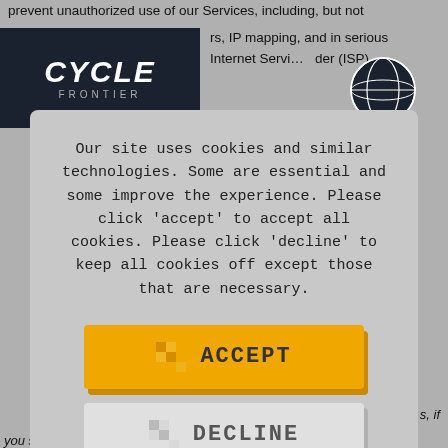prevent unauthorized use of our Services, including, but not
[Figure (logo): The Cycle Frontier game logo - white text on dark navy background]
rs, IP mapping, and in serious Internet Service provider (ISP)
[Figure (other): Globe icon with grid lines, dark background]
Our site uses cookies and similar technologies. Some are essential and some improve the experience. Please click 'accept' to accept all cookies. Please click 'decline' to keep all cookies off except those that are necessary.
[Figure (other): ACCEPT button - yellow/gold colored button with pixel icon]
[Figure (other): DECLINE button - light gray colored button with pixel icon]
Configure
s, if
you suffer from an epileptic condition, please talk to a doctor